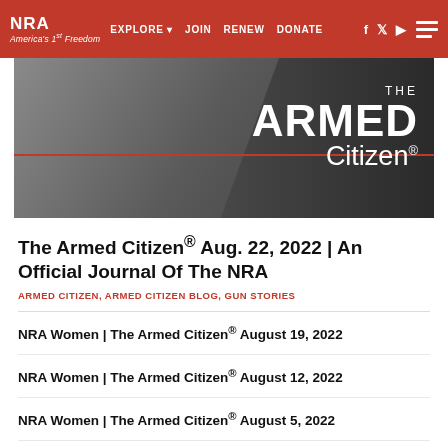NRA America's 1st Freedom | EXPLORE | JOIN | RENEW | DONATE
[Figure (photo): The Armed Citizen banner image showing a person holding a rifle, with red horizontal line and 'THE ARMED Citizen®' text overlay on dark background]
The Armed Citizen® Aug. 22, 2022 | An Official Journal Of The NRA
ARMED CITIZEN, ARMED CITIZEN BLOG, GUN STORIES
NRA Women | The Armed Citizen® August 19, 2022
NRA Women | The Armed Citizen® August 12, 2022
NRA Women | The Armed Citizen® August 5, 2022
ARMED CITIZEN →